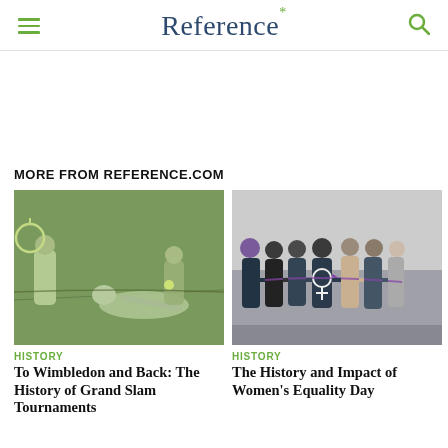Reference*
MORE FROM REFERENCE.COM
[Figure (photo): Black and white / green-tinted vintage tennis photograph showing a player diving at the net holding a trophy, with another player in the background on a tennis court]
HISTORY
To Wimbledon and Back: The History of Grand Slam Tournaments
[Figure (photo): Photo of a group of women seen from behind standing in a row with arms around each other, one wearing a jacket with a female symbol, purple ribbons visible — Women's Equality Day theme]
HISTORY
The History and Impact of Women's Equality Day